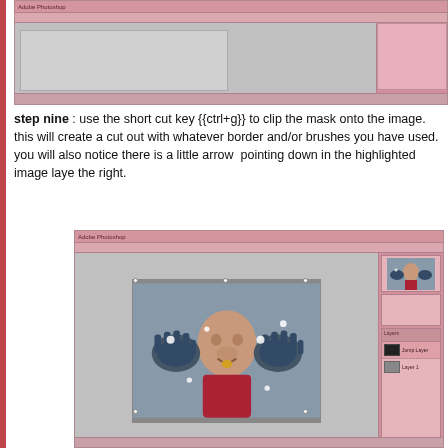[Figure (screenshot): Adobe Photoshop application screenshot showing a document with a gray canvas and pink toolbars/sidebars, pink panel on right, taskbar at bottom]
step nine : use the short cut key {{ctrl+g}} to clip the mask onto the image. this will create a cut out with whatever border and/or brushes you have used. you will also notice there is a little arrow pointing down in the highlighted image layer to the right.
[Figure (screenshot): Adobe Photoshop application screenshot showing a child with painted hands displayed in the canvas area, with layers panel and thumbnail visible in the pink sidebar on the right]